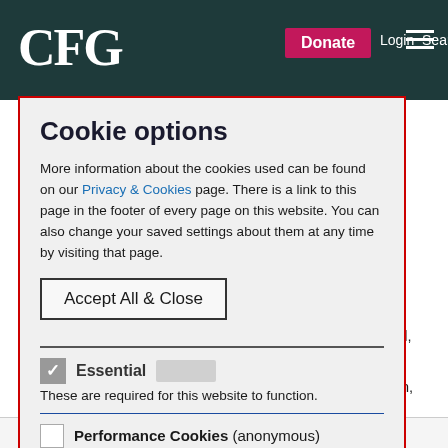CFG  Donate  Login  Search
Cookie options
More information about the cookies used can be found on our Privacy & Cookies page. There is a link to this page in the footer of every page on this website. You can also change your saved settings about them at any time by visiting that page.
Accept All & Close
Essential
These are required for this website to function.
Performance Cookies (anonymous)
These cookies allow us to count visits and traffic sources so we can measure and improve the performance of our site. They help us to know which pages are the most and least popular and see how
which is payable as part of a policy premium